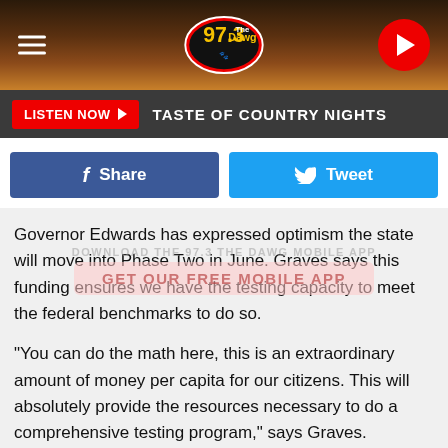[Figure (screenshot): 97.3 The Dawg radio station header with logo, hamburger menu, and play button on wood-textured background]
LISTEN NOW ▶  TASTE OF COUNTRY NIGHTS
[Figure (other): Facebook Share button and Twitter Tweet button]
Governor Edwards has expressed optimism the state will move into Phase Two in June. Graves says this funding ensures we have the testing capacity to meet the federal benchmarks to do so.
“You can do the math here, this is an extraordinary amount of money per capita for our citizens. This will absolutely provide the resources necessary to do a comprehensive testing program,” says Graves.
The money came to the state through legation passed by